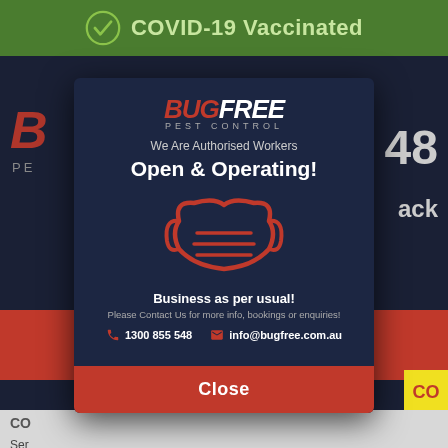COVID-19 Vaccinated
[Figure (screenshot): Background showing BugFree Pest Control website with dark navy background, partial logo, and red strip]
[Figure (infographic): BugFree Pest Control popup modal. Logo at top, text 'We Are Authorised Workers', 'Open & Operating!', red mask icon, 'Business as per usual!', contact details: 1300 855 548 and info@bugfree.com.au, Close button at bottom]
We Are Authorised Workers
Open & Operating!
Business as per usual!
Please Contact Us for more info, bookings or enquiries!
1300 855 548
info@bugfree.com.au
Close
Monday: 7am–8pm